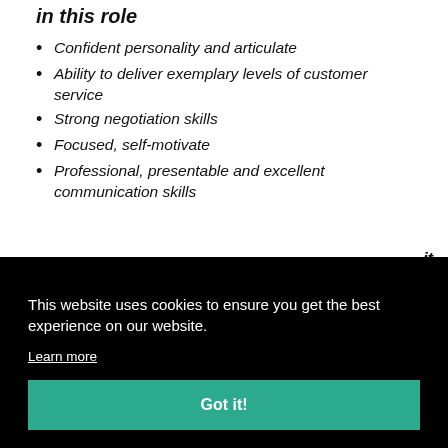in this role
Confident personality and articulate
Ability to deliver exemplary levels of customer service
Strong negotiation skills
Focused, self-motivate
Professional, presentable and excellent communication skills
This website uses cookies to ensure you get the best experience on our website. Learn more Got it!